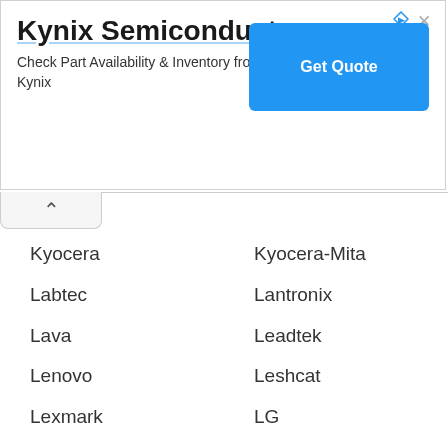[Figure (other): Kynix Semiconductor advertisement banner with title, description text, and Get Quote button]
Kyocera
Kyocera-Mita
Labtec
Lantronix
Lava
Leadtek
Lenovo
Leshcat
Lexmark
LG
LIFEVIEW
LinkPro
Linksys
LipoCodes
Lite-On
LiteOn
Logitech
Longshine